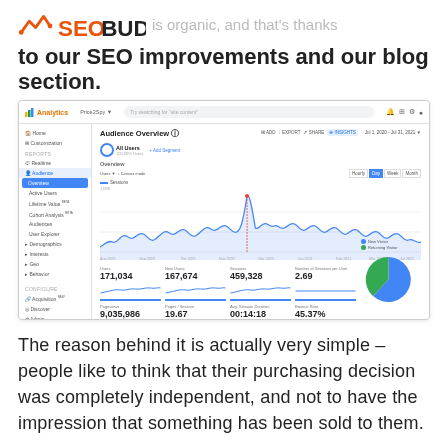is organic, and that's thanks to our SEO improvements and our blog section.
[Figure (screenshot): Google Analytics Audience Overview screenshot showing traffic data for Price2Spy. Stats include: Users 171,034, New Users 167,674, Sessions 459,328, Number of Sessions per User 2.69, Pageviews 9,035,986, Pages/Session 19.67, Avg. Session Duration 00:14:18, Bounce Rate 45.37%. Includes a line chart of sessions over time and a pie chart showing New vs Returning visitors.]
The reason behind it is actually very simple – people like to think that their purchasing decision was completely independent, and not to have the impression that something has been sold to them.